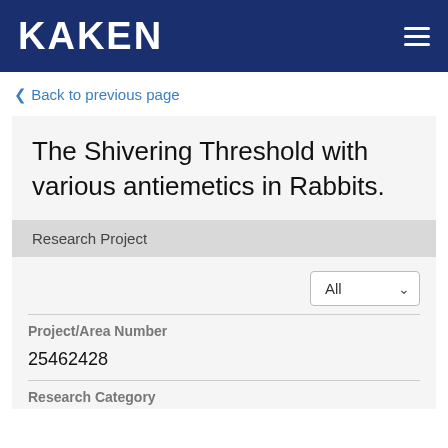KAKEN
Back to previous page
The Shivering Threshold with various antiemetics in Rabbits.
Research Project
All
Project/Area Number
25462428
Research Category